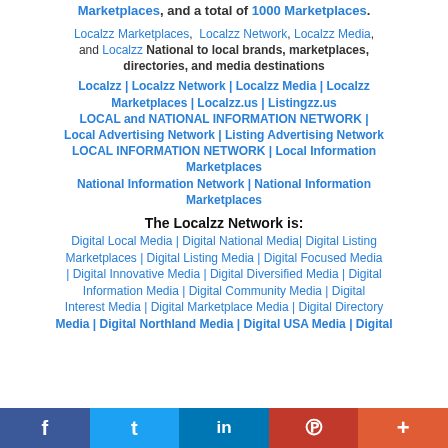Marketplaces, and a total of 1000 Marketplaces.
Localzz Marketplaces, Localzz Network, Localzz Media, and Localzz National to local brands, marketplaces, directories, and media destinations
Localzz | Localzz Network | Localzz Media | Localzz Marketplaces | Localzz.us | Listingzz.us
LOCAL and NATIONAL INFORMATION NETWORK | Local Advertising Network | Listing Advertising Network
LOCAL INFORMATION NETWORK | Local Information Marketplaces
National Information Network | National Information Marketplaces
The Localzz Network is:
Digital Local Media | Digital National Media | Digital Listing Marketplaces | Digital Listing Media | Digital Focused Media | Digital Innovative Media | Digital Diversified Media | Digital Information Media | Digital Community Media | Digital Interest Media | Digital Marketplace Media | Digital Directory Media | Digital Northland Media | Digital USA Media | Digital...